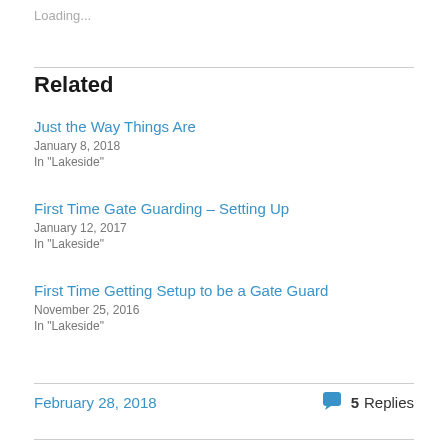Loading...
Related
Just the Way Things Are
January 8, 2018
In "Lakeside"
First Time Gate Guarding – Setting Up
January 12, 2017
In "Lakeside"
First Time Getting Setup to be a Gate Guard
November 25, 2016
In "Lakeside"
February 28, 2018    5 Replies